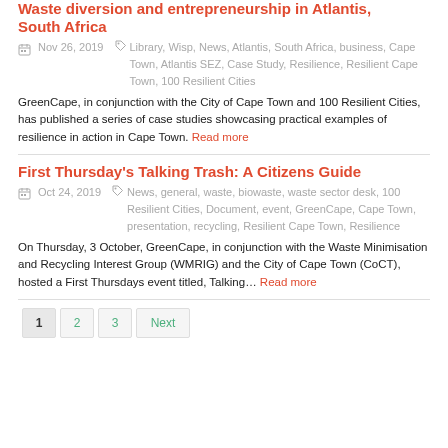Waste diversion and entrepreneurship in Atlantis, South Africa
Nov 26, 2019   Library, Wisp, News, Atlantis, South Africa, business, Cape Town, Atlantis SEZ, Case Study, Resilience, Resilient Cape Town, 100 Resilient Cities
GreenCape, in conjunction with the City of Cape Town and 100 Resilient Cities, has published a series of case studies showcasing practical examples of resilience in action in Cape Town. Read more
First Thursday's Talking Trash: A Citizens Guide
Oct 24, 2019   News, general, waste, biowaste, waste sector desk, 100 Resilient Cities, Document, event, GreenCape, Cape Town, presentation, recycling, Resilient Cape Town, Resilience
On Thursday, 3 October, GreenCape, in conjunction with the Waste Minimisation and Recycling Interest Group (WMRIG) and the City of Cape Town (CoCT), hosted a First Thursdays event titled, Talking… Read more
1
2
3
Next